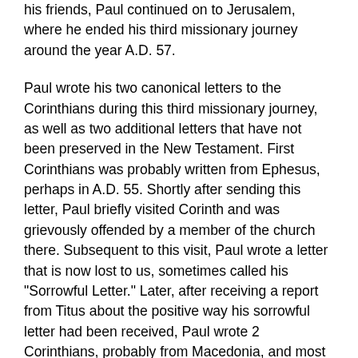his friends, Paul continued on to Jerusalem, where he ended his third missionary journey around the year A.D. 57.
Paul wrote his two canonical letters to the Corinthians during this third missionary journey, as well as two additional letters that have not been preserved in the New Testament. First Corinthians was probably written from Ephesus, perhaps in A.D. 55. Shortly after sending this letter, Paul briefly visited Corinth and was grievously offended by a member of the church there. Subsequent to this visit, Paul wrote a letter that is now lost to us, sometimes called his "Sorrowful Letter." Later, after receiving a report from Titus about the positive way his sorrowful letter had been received, Paul wrote 2 Corinthians, probably from Macedonia, and most likely within a year or so of